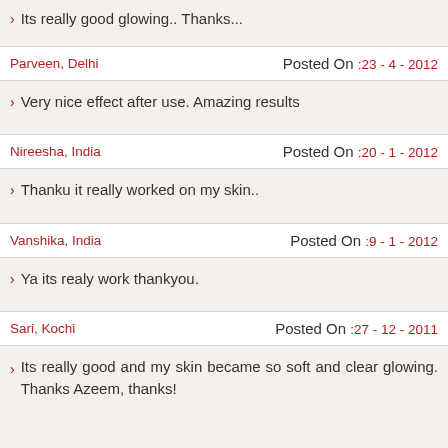Its really good glowing.. Thanks...
Parveen, Delhi   Posted On :23 - 4 - 2012
Very nice effect after use. Amazing results
Nireesha, India   Posted On :20 - 1 - 2012
Thanku it really worked on my skin..
Vanshika, India   Posted On :9 - 1 - 2012
Ya its realy work thankyou.
Sari, Kochi   Posted On :27 - 12 - 2011
Its really good and my skin became so soft and clear glowing. Thanks Azeem, thanks!